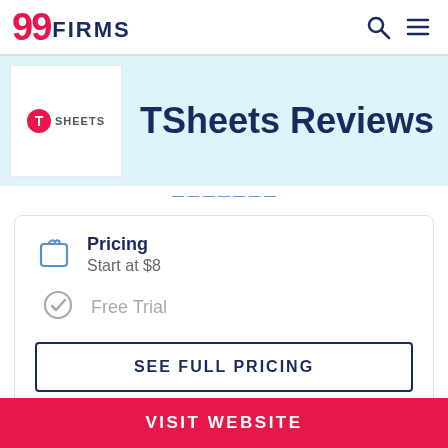99FIRMS
[Figure (logo): TSheets logo with red T circle and TSHEETS text]
TSheets Reviews
Pricing
Start at $8
Free Trial
SEE FULL PRICING
Type of Pricing Plan
VISIT WEBSITE